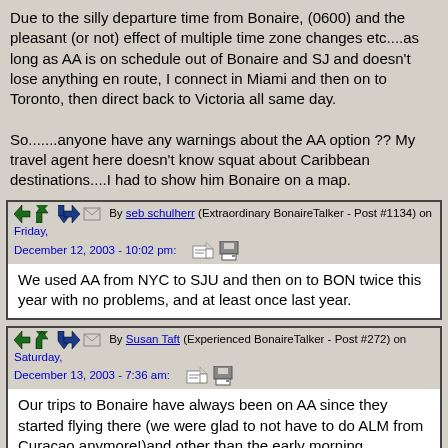Due to the silly departure time from Bonaire, (0600) and the pleasant (or not) effect of multiple time zone changes etc....as long as AA is on schedule out of Bonaire and SJ and doesn't lose anything en route, I connect in Miami and then on to Toronto, then direct back to Victoria all same day.

So.......anyone have any warnings about the AA option ?? My travel agent here doesn't know squat about Caribbean destinations....I had to show him Bonaire on a map.
By seb schulherr (Extraordinary BonaireTalker - Post #1134) on Friday, December 12, 2003 - 10:02 pm:
We used AA from NYC to SJU and then on to BON twice this year with no problems, and at least once last year.
By Susan Taft (Experienced BonaireTalker - Post #272) on Saturday, December 13, 2003 - 7:36 am:
Our trips to Bonaire have always been on AA since they started flying there (we were glad to not have to do ALM from Curacao anymore!)and other than the early morning departure from Bonaire have no issues with the flight. You do need to know that from SJ to BON (and back) it is a small plane. Customs back through SJ can sometimes take awhile so make sure that you have time between flights. And don't plan on finding decent food in the SJ airport! Other than that I would say go for the Miami-SJ-Bon route.